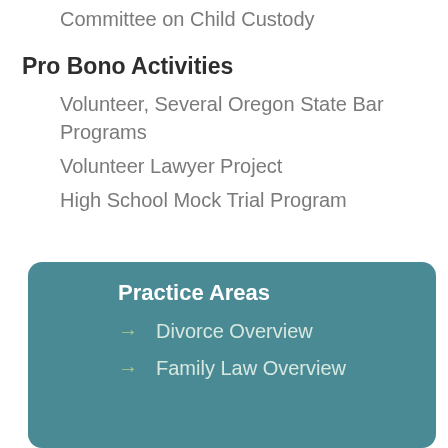Committee on Child Custody
Pro Bono Activities
Volunteer, Several Oregon State Bar Programs
Volunteer Lawyer Project
High School Mock Trial Program
Practice Areas
Divorce Overview
Family Law Overview